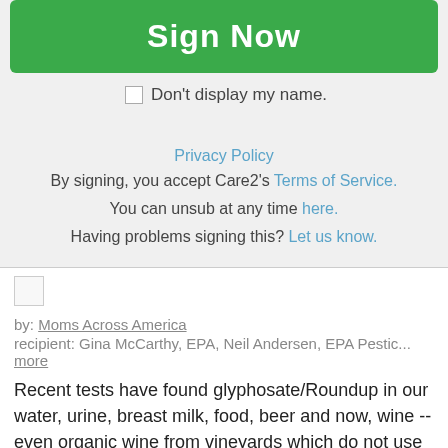Sign Now
Don't display my name.
Privacy Policy
By signing, you accept Care2's Terms of Service.
You can unsub at any time here.
Having problems signing this? Let us know.
[Figure (illustration): Broken image placeholder icon]
by: Moms Across America
recipient: Gina McCarthy, EPA, Neil Andersen, EPA Pestic... more
Recent tests have found glyphosate/Roundup in our water, urine, breast milk, food, beer and now, wine -- even organic wine from vineyards which do not use Roundup.
Drift, rain, irrigation water and fertilizer from animals which eat